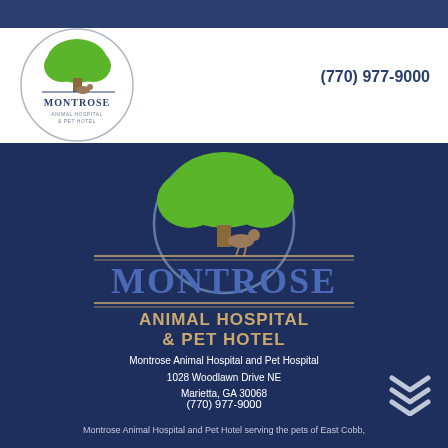[Figure (logo): Montrose Animal Hospital & Pet Hotel logo — circular badge with green tree, dog and cat silhouette, dark blue text MONTROSE, ANIMAL HOSPITAL & PET HOTEL]
(770) 977-9000
[Figure (logo): Large centered Montrose Animal Hospital logo on dark navy background — green tree inside partial circle arc, small animal silhouette, gold horizontal lines, blue MONTROSE lettering]
ANIMAL HOSPITAL & PET HOTEL
Montrose Animal Hospital and Pet Hospital
1028 Woodlawn Drive NE
Marietta, GA 30068
(770) 977-9000
Montrose Animal Hospital and Pet Hotel serving the pets of East Cobb,